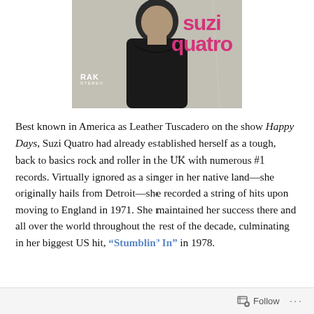[Figure (illustration): Suzi Quatro album cover showing woman in dark top with 'suzi quatro' in pink text and RAK STEREO label in bottom left corner, on a grey/beige background]
Best known in America as Leather Tuscadero on the show Happy Days, Suzi Quatro had already established herself as a tough, back to basics rock and roller in the UK with numerous #1 records. Virtually ignored as a singer in her native land—she originally hails from Detroit—she recorded a string of hits upon moving to England in 1971. She maintained her success there and all over the world throughout the rest of the decade, culminating in her biggest US hit, "Stumblin' In" in 1978.
Follow ···